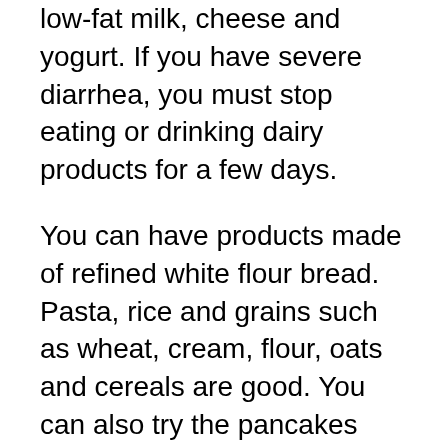low-fat milk, cheese and yogurt. If you have severe diarrhea, you must stop eating or drinking dairy products for a few days.
You can have products made of refined white flour bread. Pasta, rice and grains such as wheat, cream, flour, oats and cereals are good. You can also try the pancakes and waffles made with white flour and corn bread. But do not add too much honey or syrup.
You should eat vegetables, including carrots, green beans, mushrooms, beets, asparagus, squash, peeled and zucchini. Cook it first. Baked potatoes are fine. In general, removing the seeds and skins are better. Some delicious appetizers and desserts